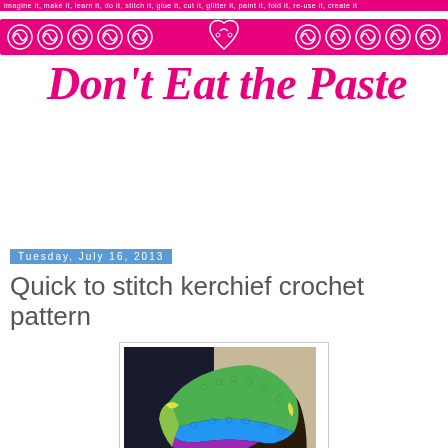imagine it, make it, learn it, do it, stitch it, glue it, cut it, glitter it, paint it, fold it, re-use it, create it
[Figure (illustration): Don't Eat the Paste blog logo with decorative pink scrollwork border and heart design, pink text]
Home
Tuesday, July 16, 2013
Quick to stitch kerchief crochet pattern
[Figure (photo): Person wearing a colorful crocheted kerchief/headscarf in green, blue, purple, and yellow colors, viewed from behind/side]